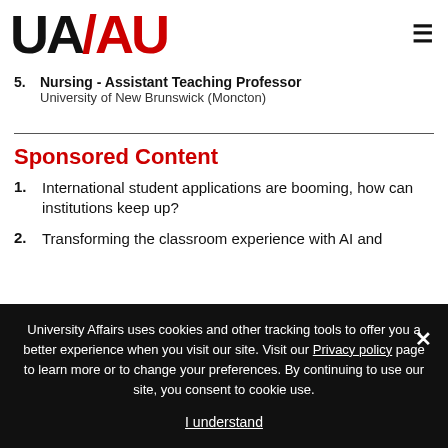UA/AU logo and navigation menu
5. Nursing - Assistant Teaching Professor
University of New Brunswick (Moncton)
Sponsored Content
1. International student applications are booming, how can institutions keep up?
2. Transforming the classroom experience with AI and
University Affairs uses cookies and other tracking tools to offer you a better experience when you visit our site. Visit our Privacy policy page to learn more or to change your preferences. By continuing to use our site, you consent to cookie use.
I understand